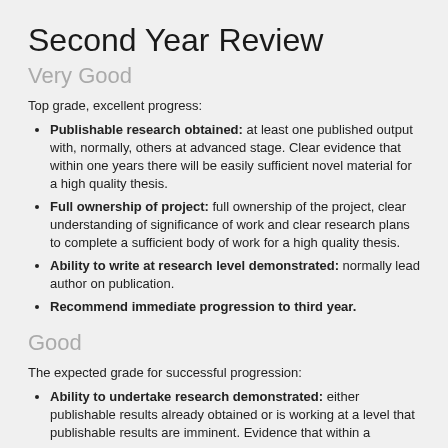Second Year Review
Very Good
Top grade, excellent progress:
Publishable research obtained: at least one published output with, normally, others at advanced stage. Clear evidence that within one years there will be easily sufficient novel material for a high quality thesis.
Full ownership of project: full ownership of the project, clear understanding of significance of work and clear research plans to complete a sufficient body of work for a high quality thesis.
Ability to write at research level demonstrated: normally lead author on publication.
Recommend immediate progression to third year.
Good
The expected grade for successful progression:
Ability to undertake research demonstrated: either publishable results already obtained or is working at a level that publishable results are imminent. Evidence that within a